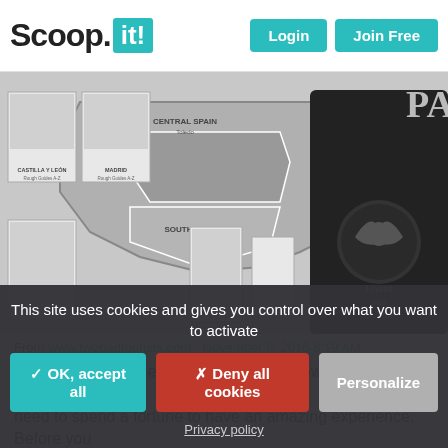Scoop.it! Login Join Free
[Figure (photo): Black and white photo showing a map of Spain with regional labels and travel guide book covers (Castilla y León, Madrid, Southern Spain, Central Spain), alongside a United States of America passport on the right side.]
From www.twobadtourists.com - November 8, 2016 8:19 AM
Spain is a dream destination for many. However, that doesn't mean you need to spend a fortune to have an amazing experience. Before you book your trip, consider these money-saving tips to help you get the
This site uses cookies and gives you control over what you want to activate
✓ OK, accept all
✗ Deny all cookies
Personalize
Privacy policy